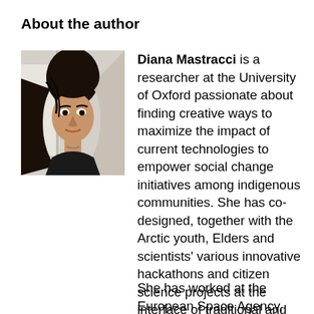About the author
[Figure (photo): Headshot photo of Diana Mastracci, a woman with long dark hair wearing a black top, against a light background.]
Diana Mastracci is a researcher at the University of Oxford passionate about finding creative ways to maximize the impact of current technologies to empower social change initiatives among indigenous communities. She has co-designed, together with the Arctic youth, Elders and scientists' various innovative hackathons and citizen science projects at the interface of traditional and scientific knowledge. She has conducted fieldwork amongst the Iñupiat community in the Alaskan Arctic as well as with the Nenets reindeer herders in the Russian Arctic.

She has worked at the European Space Agency, NASA's Jet Propulsion